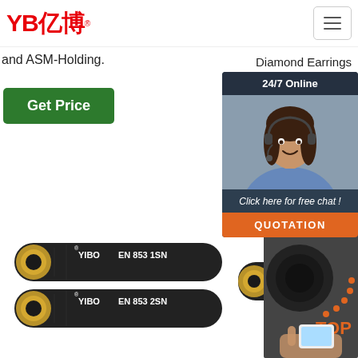[Figure (logo): YB亿博 logo in red with registered trademark symbol]
[Figure (screenshot): Hamburger menu button top right]
and ASM-Holding.
Diamond Earrings
Rec...
Silv...
Am...
Har...
Tea...
[Figure (screenshot): 24/7 Online chat popup with female customer service agent photo, 'Click here for free chat!' text, and orange QUOTATION button]
[Figure (photo): Get Price green button on left side]
[Figure (photo): Green Get Price button partially visible on right]
[Figure (photo): Two black rubber hydraulic hoses labeled YIBO EN 853 1SN and YIBO EN 853 2SN stacked vertically]
[Figure (photo): Single shorter black rubber hydraulic hose labeled YIBO EN 856 4SP]
[Figure (photo): Close-up of black hydraulic hose end with orange TOP badge with dots arc]
[Figure (photo): Hand holding smartphone showing hose product page]